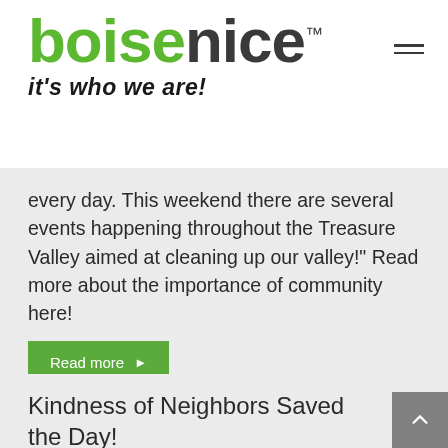boisenice™ it's who we are!
every day. This weekend there are several events happening throughout the Treasure Valley aimed at cleaning up our valley!" Read more about the importance of community here!
Read more ▶
Kindness of Neighbors Saved the Day!